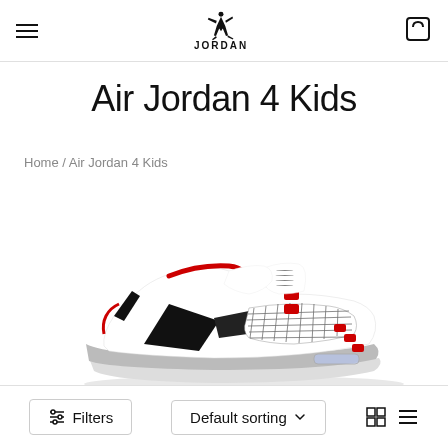Jordan brand navigation header with hamburger menu, Jordan Jumpman logo and JORDAN text, and cart icon
Air Jordan 4 Kids
Home / Air Jordan 4 Kids
[Figure (photo): Air Jordan 4 Kids sneaker in white, red, and black colorway, side profile view showing the iconic AJ4 design with red lace loops, black support wings, and mesh mid-panel detail]
Filters | Default sorting | Grid/List view icons